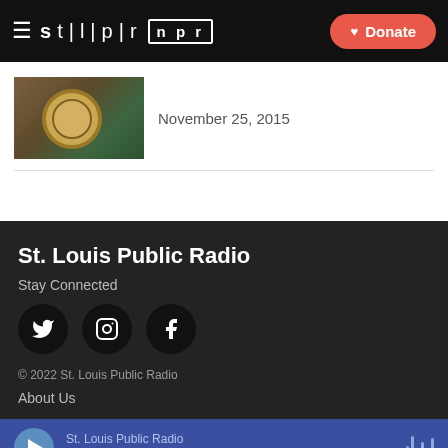stlpr | npr — Donate
November 25, 2015
St. Louis Public Radio
Stay Connected
[Figure (logo): Twitter, Instagram, Facebook social media icons (black circles)]
© 2022 St. Louis Public Radio
About Us
St. Louis Public Radio — The Takeaway (audio player bar)